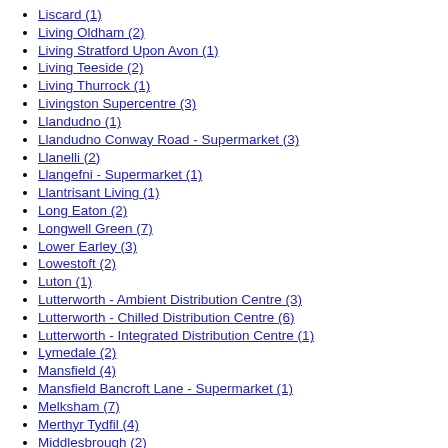Liscard (1)
Living Oldham (2)
Living Stratford Upon Avon (1)
Living Teeside (2)
Living Thurrock (1)
Livingston Supercentre (3)
Llandudno (1)
Llandudno Conway Road - Supermarket (3)
Llanelli (2)
Llangefni - Supermarket (1)
Llantrisant Living (1)
Long Eaton (2)
Longwell Green (7)
Lower Earley (3)
Lowestoft (2)
Luton (1)
Lutterworth - Ambient Distribution Centre (3)
Lutterworth - Chilled Distribution Centre (6)
Lutterworth - Integrated Distribution Centre (1)
Lymedale (2)
Mansfield (4)
Mansfield Bancroft Lane - Supermarket (1)
Melksham (7)
Merthyr Tydfil (4)
Middlesbrough (2)